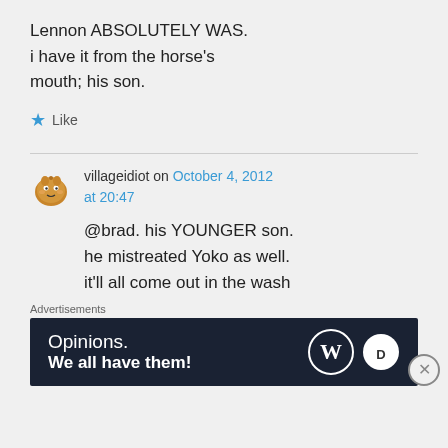Lennon ABSOLUTELY WAS. i have it from the horse's mouth; his son.
★ Like
villageidiot on October 4, 2012 at 20:47
[Figure (illustration): Small cartoon avatar of a character, resembling a brown blob with a face]
@brad. his YOUNGER son. he mistreated Yoko as well. it'll all come out in the wash
Advertisements
[Figure (screenshot): WordPress advertisement banner: 'Opinions. We all have them!' with WordPress and Daily Post logos on dark navy background]